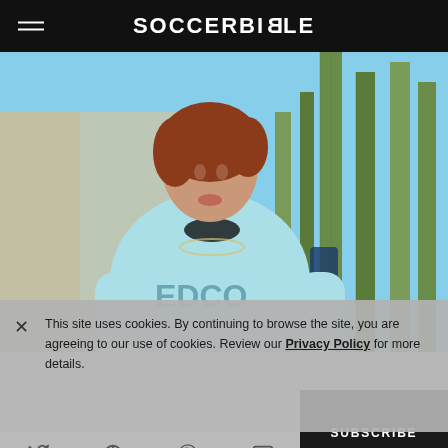SOCCERBIBLE
[Figure (photo): Woman with auburn hair wearing a light blue long-sleeve soccer jersey with 'EDCO' text and a club crest, posed in front of tall cactus plants outdoors]
This site uses cookies. By continuing to browse the site, you are agreeing to our use of cookies. Review our Privacy Policy for more details.
SUBSCRIBE